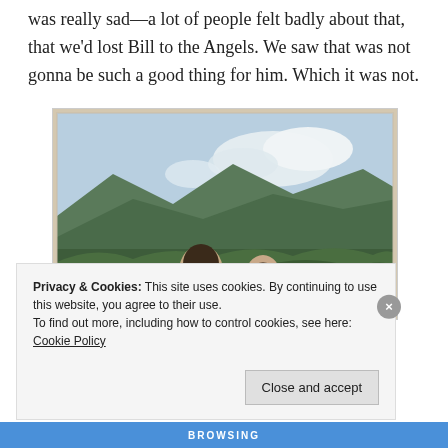was really sad—a lot of people felt badly about that, that we'd lost Bill to the Angels. We saw that was not gonna be such a good thing for him. Which it was not.
[Figure (photo): Vintage Polaroid-style photo of a man and woman outdoors with mountains and clouds in the background]
Privacy & Cookies: This site uses cookies. By continuing to use this website, you agree to their use.
To find out more, including how to control cookies, see here: Cookie Policy
Close and accept